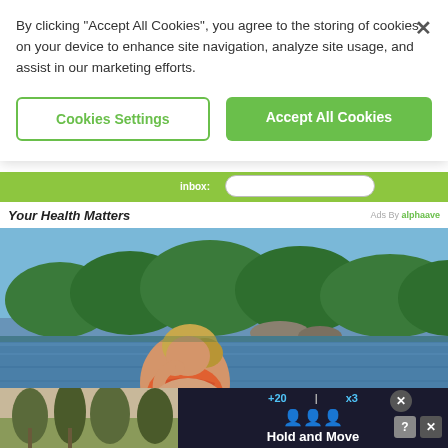By clicking “Accept All Cookies”, you agree to the storing of cookies on your device to enhance site navigation, analyze site usage, and assist in our marketing efforts.
Cookies Settings
Accept All Cookies
inbox:
Your Health Matters
Ads By alphaave
[Figure (photo): Woman in a floral bikini sitting on a dock by a calm lake surrounded by green forested hillside on a clear sunny day]
[Figure (screenshot): Mobile game advertisement showing score display '+20' and 'x3', figures icons, and text 'Hold and Move']